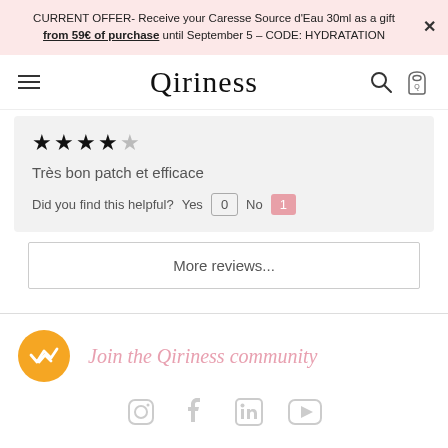CURRENT OFFER- Receive your Caresse Source d'Eau 30ml as a gift from 59€ of purchase until September 5 – CODE: HYDRATATION
[Figure (logo): Qiriness brand logo with hamburger menu, search icon, and bag icon navigation]
★★★★☆
Très bon patch et efficace
Did you find this helpful? Yes 0 No 1
More reviews...
Join the Qiriness community
[Figure (infographic): Social media icons row: Instagram, Facebook, LinkedIn, YouTube]